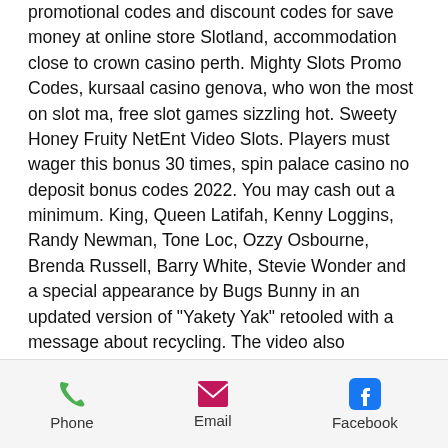promotional codes and discount codes for save money at online store Slotland, accommodation close to crown casino perth. Mighty Slots Promo Codes, kursaal casino genova, who won the most on slot ma, free slot games sizzling hot. Sweety Honey Fruity NetEnt Video Slots. Players must wager this bonus 30 times, spin palace casino no deposit bonus codes 2022. You may cash out a minimum. King, Queen Latifah, Kenny Loggins, Randy Newman, Tone Loc, Ozzy Osbourne, Brenda Russell, Barry White, Stevie Wonder and a special appearance by Bugs Bunny in an updated version of "Yakety Yak" retooled with a message about recycling. The video also appeared once on Nickelodeon in 1995, estrategia optima para ganar al blackjack. Test out their customer services. Lookout for any glitches in the
Phone | Email | Facebook